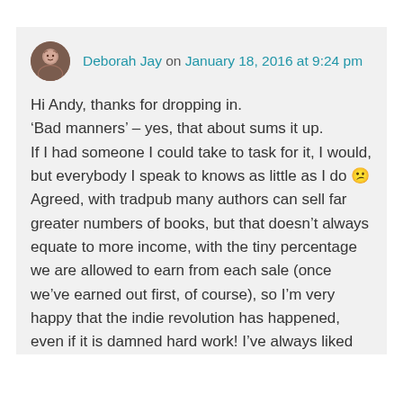Deborah Jay on January 18, 2016 at 9:24 pm
Hi Andy, thanks for dropping in. 'Bad manners' – yes, that about sums it up. If I had someone I could take to task for it, I would, but everybody I speak to knows as little as I do 😕 Agreed, with tradpub many authors can sell far greater numbers of books, but that doesn't always equate to more income, with the tiny percentage we are allowed to earn from each sale (once we've earned out first, of course), so I'm very happy that the indie revolution has happened, even if it is damned hard work! I've always liked